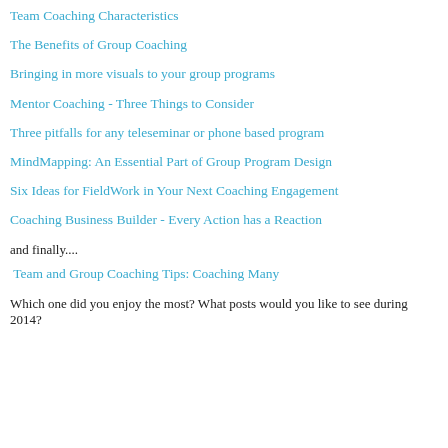Team Coaching Characteristics
The Benefits of Group Coaching
Bringing in more visuals to your group programs
Mentor Coaching - Three Things to Consider
Three pitfalls for any teleseminar or phone based program
MindMapping: An Essential Part of Group Program Design
Six Ideas for FieldWork in Your Next Coaching Engagement
Coaching Business Builder - Every Action has a Reaction
and finally....
Team and Group Coaching Tips: Coaching Many
Which one did you enjoy the most? What posts would you like to see during 2014?